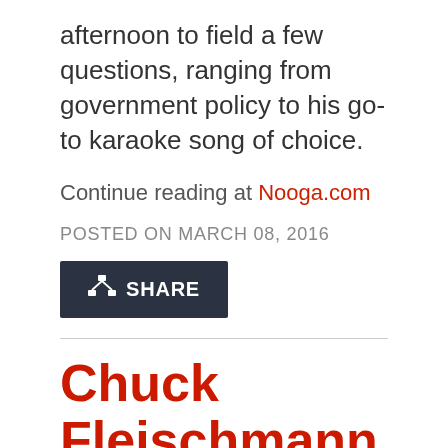afternoon to field a few questions, ranging from government policy to his go-to karaoke song of choice.
Continue reading at Nooga.com
POSTED ON MARCH 08, 2016
[Figure (other): Dark Share button with network/share icon and the word SHARE in white text]
Chuck Fleischmann says he's